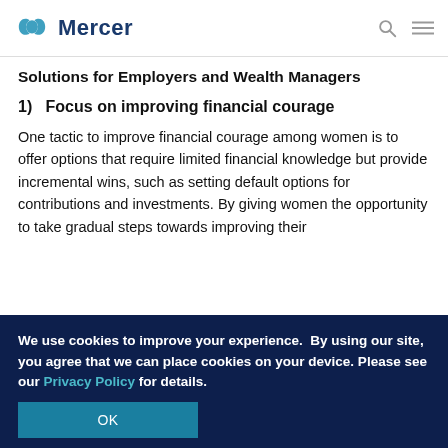[Figure (logo): Mercer logo with teal/blue infinity-style icon and bold dark blue 'Mercer' text]
Solutions for Employers and Wealth Managers
1)   Focus on improving financial courage
One tactic to improve financial courage among women is to offer options that require limited financial knowledge but provide incremental wins, such as setting default options for contributions and investments. By giving women the opportunity to take gradual steps towards improving their
We use cookies to improve your experience.  By using our site, you agree that we can place cookies on your device. Please see our Privacy Policy for details.
OK